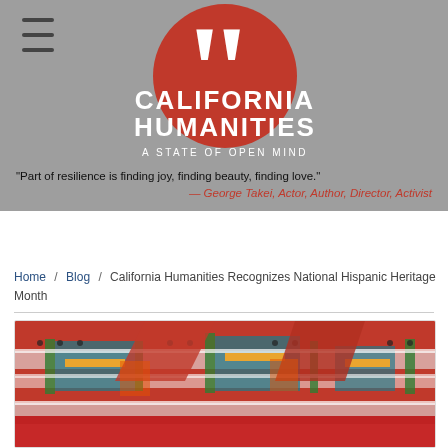California Humanities — A State of Open Mind
"Part of resilience is finding joy, finding beauty, finding love." — George Takei, Actor, Author, Director, Activist
Home / Blog / California Humanities Recognizes National Hispanic Heritage Month
[Figure (photo): Colorful traditional Hispanic folk dance costumes with red, blue, green, yellow, and white embroidered fabric]